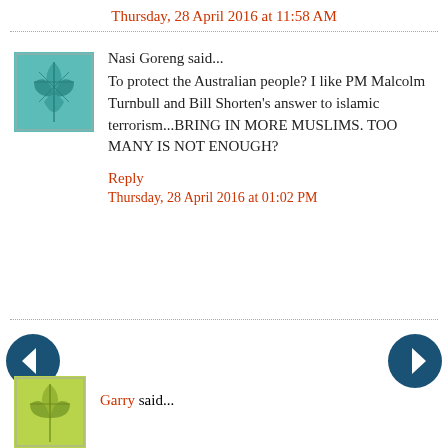Thursday, 28 April 2016 at 11:58 AM
Nasi Goreng said...
To protect the Australian people? I like PM Malcolm Turnbull and Bill Shorten's answer to islamic terrorism...BRING IN MORE MUSLIMS. TOO MANY IS NOT ENOUGH?
Reply
Thursday, 28 April 2016 at 01:02 PM
Garry said...